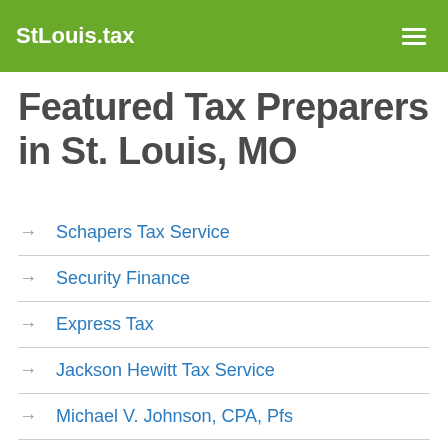StLouis.tax
Featured Tax Preparers in St. Louis, MO
Schapers Tax Service
Security Finance
Express Tax
Jackson Hewitt Tax Service
Michael V. Johnson, CPA, Pfs
Suk D Sapkota
Orent Financial Service
Douglas Hancock